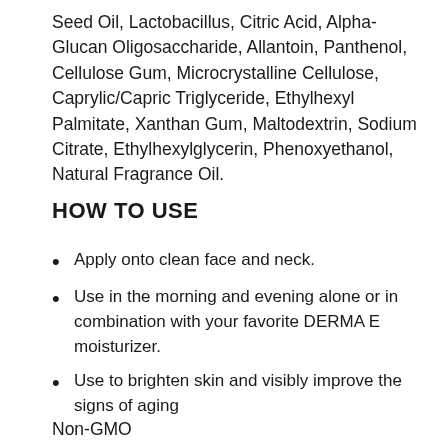Seed Oil, Lactobacillus, Citric Acid, Alpha-Glucan Oligosaccharide, Allantoin, Panthenol, Cellulose Gum, Microcrystalline Cellulose, Caprylic/Capric Triglyceride, Ethylhexyl Palmitate, Xanthan Gum, Maltodextrin, Sodium Citrate, Ethylhexylglycerin, Phenoxyethanol, Natural Fragrance Oil.
HOW TO USE
Apply onto clean face and neck.
Use in the morning and evening alone or in combination with your favorite DERMA E moisturizer.
Use to brighten skin and visibly improve the signs of aging
Non-GMO